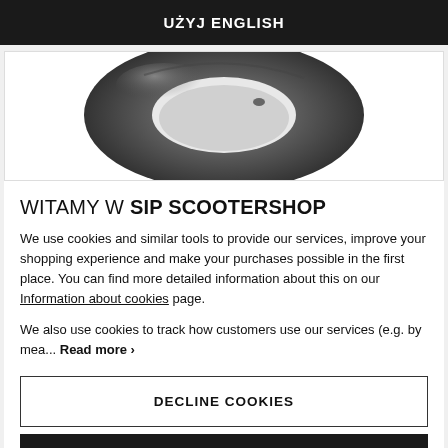UŻYJ ENGLISH
[Figure (photo): A gray rubber inner tube/donut ring for a scooter/bicycle, viewed from above against a white background. The top portion of the tube is visible showing its circular shape.]
WITAMY W SIP SCOOTERSHOP
We use cookies and similar tools to provide our services, improve your shopping experience and make your purchases possible in the first place. You can find more detailed information about this on our Information about cookies page.
We also use cookies to track how customers use our services (e.g. by mea... Read more ›
DECLINE COOKIES
ZAAKCEPTUJ WSZYSTKO